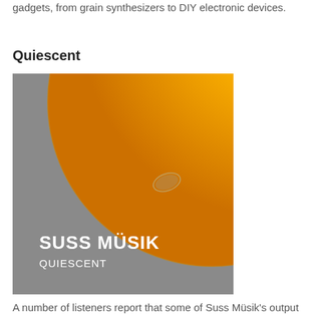gadgets, from grain synthesizers to DIY electronic devices.
Quiescent
[Figure (illustration): Album cover for 'Quiescent' by Suss Müsik. Gray background with a large orange/golden circle in the upper right quadrant, and a small oval highlight detail. Text at bottom left reads 'SUSS MÜSIK' and 'QUIESCENT' in white sans-serif letters.]
A number of listeners report that some of Suss Müsik's output